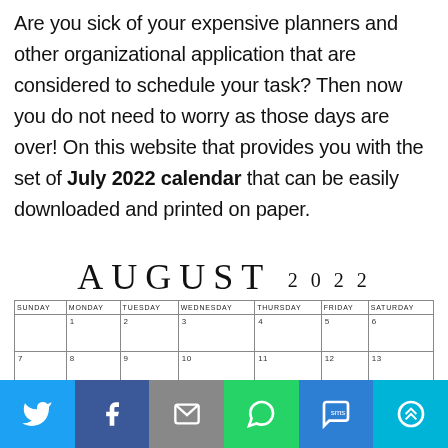Are you sick of your expensive planners and other organizational application that are considered to schedule your task? Then now you do not need to worry as those days are over! On this website that provides you with the set of July 2022 calendar that can be easily downloaded and printed on paper.
[Figure (other): August 2022 calendar grid showing month title and partial week rows with days Sunday through Saturday, dates 1-13 visible]
[Figure (infographic): Social sharing bar with Twitter, Facebook, Email, WhatsApp, SMS, and More buttons]